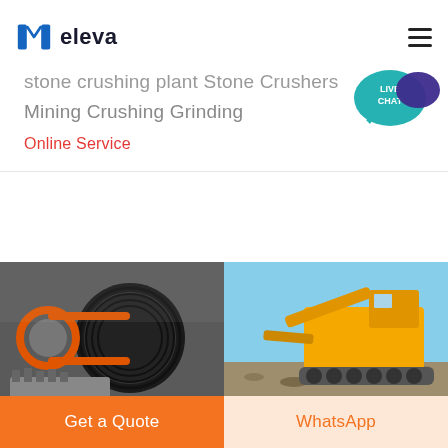eleva
stone crushing plant Stone Crushers Mining Crushing Grinding
Online Service
[Figure (photo): Close-up of industrial stone crusher mechanical components with orange/black belt pulley system]
[Figure (photo): Yellow heavy mining crusher machine outdoors on gravel ground under blue sky]
Get a Quote
WhatsApp